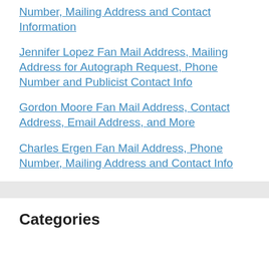Number, Mailing Address and Contact Information
Jennifer Lopez Fan Mail Address, Mailing Address for Autograph Request, Phone Number and Publicist Contact Info
Gordon Moore Fan Mail Address, Contact Address, Email Address, and More
Charles Ergen Fan Mail Address, Phone Number, Mailing Address and Contact Info
Categories